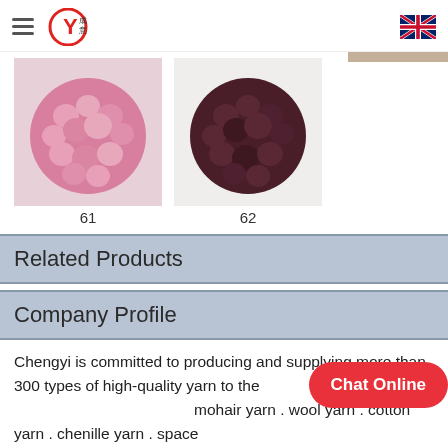Menu | Chengyi Logo | UK Flag
[Figure (photo): Pink textured yarn ball labeled 61]
61
[Figure (photo): Dark brown textured yarn ball labeled 62]
62
Related Products
Company Profile
Chengyi is committed to producing and supplying more than 300 types of high-quality yarn to the mohair yarn . wool yarn . cotton yarn . chenille yarn . space